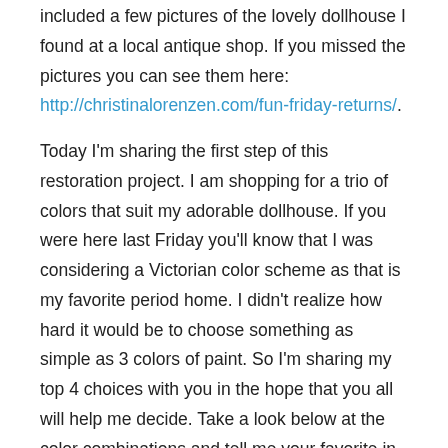included a few pictures of the lovely dollhouse I found at a local antique shop. If you missed the pictures you can see them here: http://christinalorenzen.com/fun-friday-returns/.
Today I'm sharing the first step of this restoration project. I am shopping for a trio of colors that suit my adorable dollhouse. If you were here last Friday you'll know that I was considering a Victorian color scheme as that is my favorite period home. I didn't realize how hard it would be to choose something as simple as 3 colors of paint. So I'm sharing my top 4 choices with you in the hope that you all will help me decide. Take a look below at the color combinations and tell me your favorite in the comments. I'll be choosing a random commenter via random.org to win a $5 Amazon card too:)
Here we go!
[Figure (photo): Partial photo of a Victorian-style dollhouse or house exterior showing a red/pink triangular roof gable, green walls, and trees in the background with blue sky.]